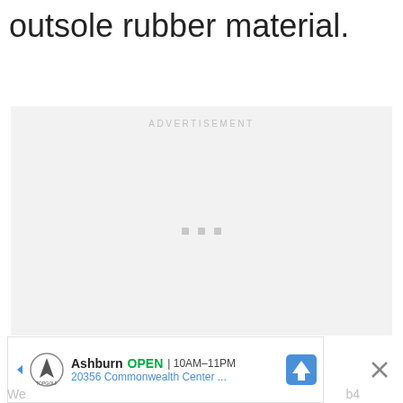outsole rubber material.
[Figure (other): Advertisement placeholder box with 'ADVERTISEMENT' label in gray and three small gray squares in the center]
[Figure (other): Bottom banner ad showing Topgolf logo, 'Ashburn OPEN 10AM-11PM 20356 Commonwealth Center ...' with a blue map direction icon, a left arrow and a close X button]